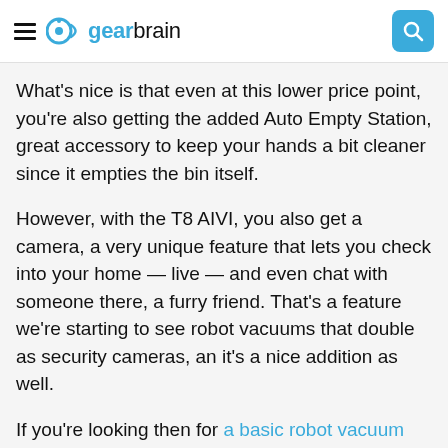gearbrain
What's nice is that even at this lower price point, you're also getting the added Auto Empty Station, great accessory to keep your hands a bit cleaner since it empties the bin itself.
However, with the T8 AIVI, you also get a camera, a very unique feature that lets you check into your home — live — and even chat with someone there, a furry friend. That's a feature we're starting to see robot vacuums that double as security cameras, an it's a nice addition as well.
If you're looking then for a basic robot vacuum that can also mop, the N8+ is a great choice, especially with the added Auto Empty Station. But if you're